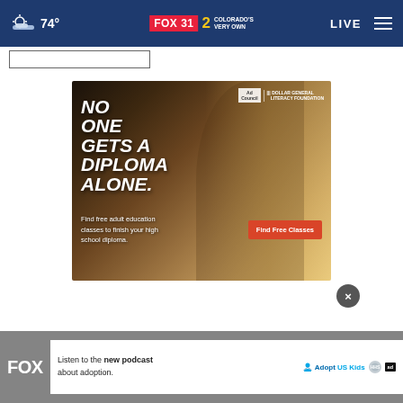74° FOX 31 2 COLORADO'S VERY OWN  LIVE
[Figure (screenshot): Advertisement: NO ONE GETS A DIPLOMA ALONE. Find free adult education classes to finish your high school diploma. Find Free Classes button. Ad Council and Dollar General Literacy Foundation logos.]
[Figure (screenshot): Bottom banner ad: Listen to the new podcast about adoption. Adopt US Kids logo. HHS logo. Ad Council badge.]